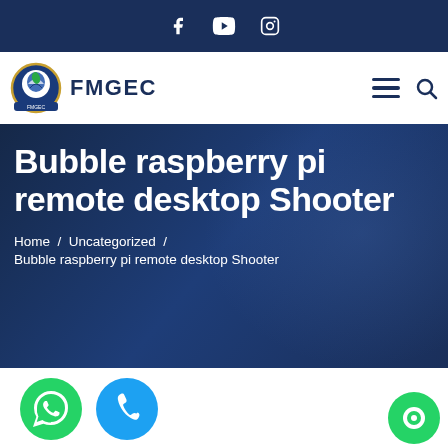Social media icons: Facebook, YouTube, Instagram
[Figure (logo): FMGEC logo with circular emblem and text FMGEC, hamburger menu icon, search icon]
Bubble raspberry pi remote desktop Shooter
Home / Uncategorized / Bubble raspberry pi remote desktop Shooter
[Figure (infographic): Bottom bar with green WhatsApp button, blue phone button, and green chat bubble button on the right]